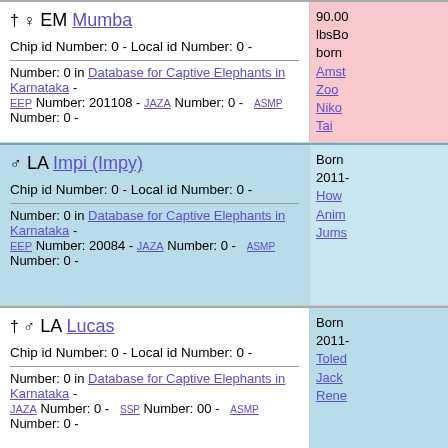† ♀ EM Mumba
Chip id Number: 0 - Local id Number: 0 -
Number: 0 in Database for Captive Elephants in Karnataka - EEP Number: 201108 - JAZA Number: 0 - ASMP Number: 0 -
90.00 lbsBo born Amst Zoo Niko Tai
♂ LA Impi (Impy)
Chip id Number: 0 - Local id Number: 0 -
Number: 0 in Database for Captive Elephants in Karnataka - EEP Number: 20084 - JAZA Number: 0 - ASMP Number: 0 -
Born 2011- How Anim Jums
† ♂ LA Lucas
Chip id Number: 0 - Local id Number: 0 -
Number: 0 in Database for Captive Elephants in Karnataka - JAZA Number: 0 - SSP Number: 00 - ASMP Number: 0 -
Born 2011- Toled Jack Rene
† ♀ EM Anar Kali
Chip id Number: 0 - Local id Number: 0 -
Born 2011-